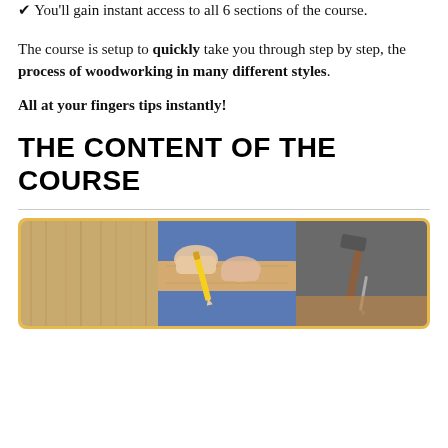✔ You'll gain instant access to all 6 sections of the course.
The course is setup to quickly take you through step by step, the process of woodworking in many different styles.
All at your fingers tips instantly!
THE CONTENT OF THE COURSE
[Figure (photo): Three-panel image showing woodworking scenes: wood grain texture on left, hands holding a pencil marking wood in center, and a hammer/nail on right, with a yellow-orange border.]